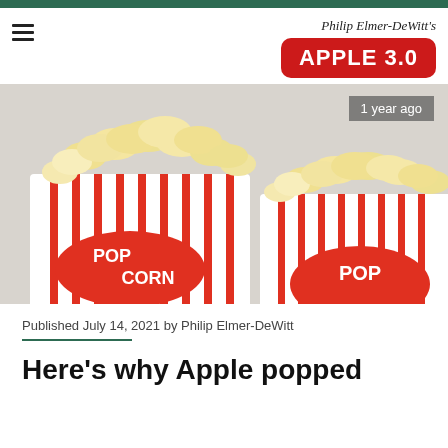Philip Elmer-DeWitt's APPLE 3.0
[Figure (photo): Two red-and-white striped popcorn boxes filled with popcorn, with 'POPCORN' branding, on a light background. A grey badge reads '1 year ago' in the top right.]
Published July 14, 2021 by Philip Elmer-DeWitt
Here's why Apple popped